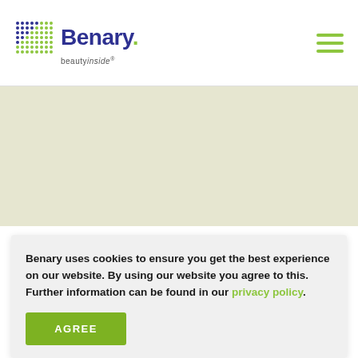Benary. beautyinside
[Figure (screenshot): Benary logo with colorful dot grid and blue text 'Benary.' with green dot, subtitle 'beautyinside']
Benary uses cookies to ensure you get the best experience on our website. By using our website you agree to this. Further information can be found in our privacy policy.
AGREE
Watsonville, CA 95076, USA